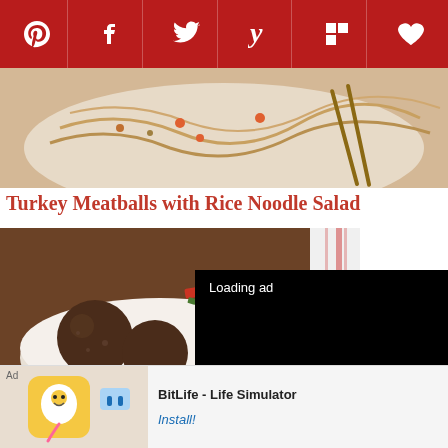[Figure (other): Social media sharing bar with icons: Pinterest, Facebook, Twitter, Yummly, Flipboard, Pocket/heart on dark red background]
[Figure (photo): Close-up food photo of noodle salad dish with chopsticks]
Turkey Meatballs with Rice Noodle Salad
[Figure (photo): Close-up food photo of Lamb Kofte with chopped vegetable topping in a white bowl]
[Figure (other): Video player loading ad overlay with black background, loading spinner, pause button, expand button, and mute button. Shows 'Loading ad' text.]
Lamb Kofte
Photo © 2011 John Kernick. All rights reserved. All materials used with
[Figure (other): Advertisement banner for BitLife - Life Simulator app with Install button]